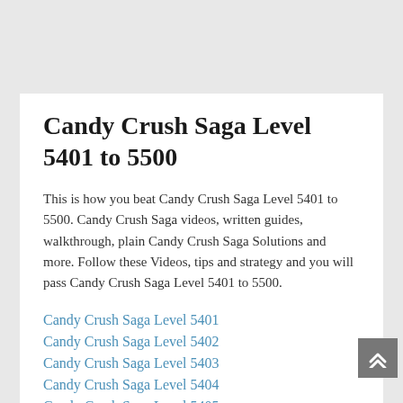Candy Crush Saga Level 5401 to 5500
This is how you beat Candy Crush Saga Level 5401 to 5500. Candy Crush Saga videos, written guides, walkthrough, plain Candy Crush Saga Solutions and more. Follow these Videos, tips and strategy and you will pass Candy Crush Saga Level 5401 to 5500.
Candy Crush Saga Level 5401
Candy Crush Saga Level 5402
Candy Crush Saga Level 5403
Candy Crush Saga Level 5404
Candy Crush Saga Level 5405